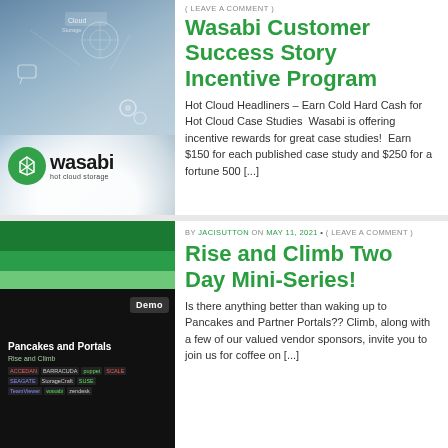[Figure (logo): Wasabi hot cloud storage logo with cloud and technology background illustration]
( LEAVE A COMMENT )
Wasabi Customer Success Story Incentive Program
Hot Cloud Headliners – Earn Cold Hard Cash for Hot Cloud Case Studies  Wasabi is offering incentive rewards for great case studies!  Earn $150 for each published case study and $250 for a fortune 500 [...]
[Figure (illustration): Pancakes and Portals Rise and Climb event banner with sponsor logos on dark background, Demo badge visible]
BY JACISUTTON ON MAY 11, 2021 • ( LEAVE A COMMENT )
Rise and Climb Two Day Mini-Series!
Is there anything better than waking up to Pancakes and Partner Portals?? Climb, along with a few of our valued vendor sponsors, invite you to join us for coffee on [...]